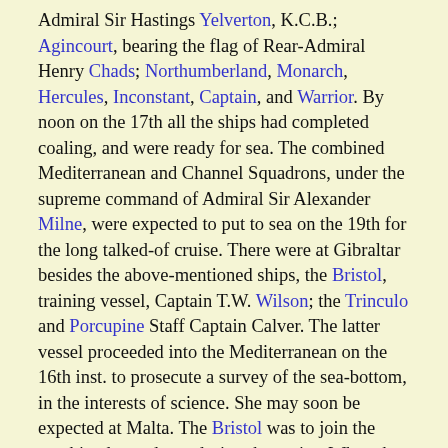Admiral Sir Hastings Yelverton, K.C.B.; Agincourt, bearing the flag of Rear-Admiral Henry Chads; Northumberland, Monarch, Hercules, Inconstant, Captain, and Warrior. By noon on the 17th all the ships had completed coaling, and were ready for sea. The combined Mediterranean and Channel Squadrons, under the supreme command of Admiral Sir Alexander Milne, were expected to put to sea on the 19th for the long talked-of cruise. There were at Gibraltar besides the above-mentioned ships, the Bristol, training vessel, Captain T.W. Wilson; the Trinculo and Porcupine Staff Captain Calver. The latter vessel proceeded into the Mediterranean on the 16th inst. to prosecute a survey of the sea-bottom, in the interests of science. She may soon be expected at Malta. The Bristol was to join the combined squadrons during the cruise. When the Mediterranean squadron was off Algiers on the 8th inst., the Psyche proceeded into that port, rejoining the Flag the same night. She went on to Gibraltar on the following day, and again met the Commander-in-Chief on the 11th inst., with the mails. His Excellency the Governor of Gibraltar has been pleased to allow the gates of the fortress to he opened, when required